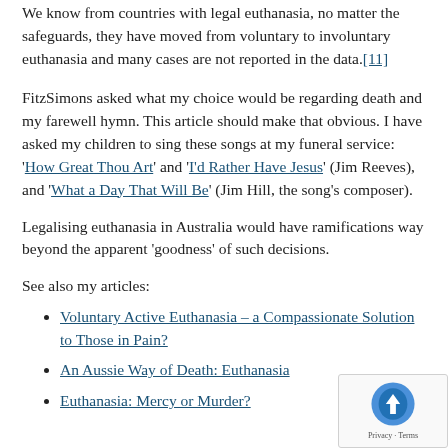We know from countries with legal euthanasia, no matter the safeguards, they have moved from voluntary to involuntary euthanasia and many cases are not reported in the data.[11]
FitzSimons asked what my choice would be regarding death and my farewell hymn. This article should make that obvious. I have asked my children to sing these songs at my funeral service: 'How Great Thou Art' and 'I'd Rather Have Jesus' (Jim Reeves), and 'What a Day That Will Be' (Jim Hill, the song's composer).
Legalising euthanasia in Australia would have ramifications way beyond the apparent 'goodness' of such decisions.
See also my articles:
Voluntary Active Euthanasia – a Compassionate Solution to Those in Pain?
An Aussie Way of Death: Euthanasia
Euthanasia: Mercy or Murder?